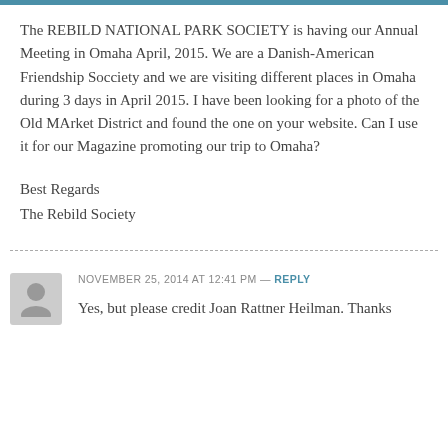The REBILD NATIONAL PARK SOCIETY is having our Annual Meeting in Omaha April, 2015. We are a Danish-American Friendship Socciety and we are visiting different places in Omaha during 3 days in April 2015. I have been looking for a photo of the Old MArket District and found the one on your website. Can I use it for our Magazine promoting our trip to Omaha?
Best Regards
The Rebild Society
NOVEMBER 25, 2014 AT 12:41 PM — REPLY
Yes, but please credit Joan Rattner Heilman. Thanks